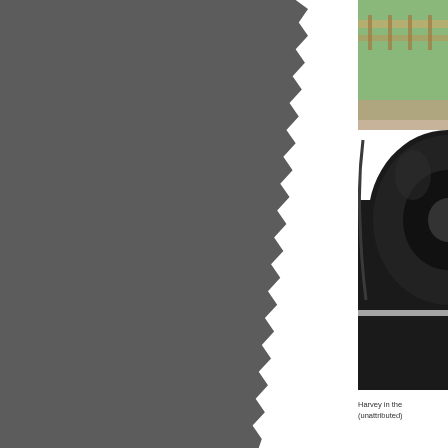[Figure (photo): Left portion of page showing a dark gray area with a torn paper edge effect along the right side, appearing to be part of a large photograph or dark background.]
[Figure (photo): Partial photograph on the right side of the page showing a Formula 1 or racing car tire/wheel at close range, with green grass and a wooden fence visible in the background upper portion, and dark asphalt track surface below.]
Harvey in the (unattributed)